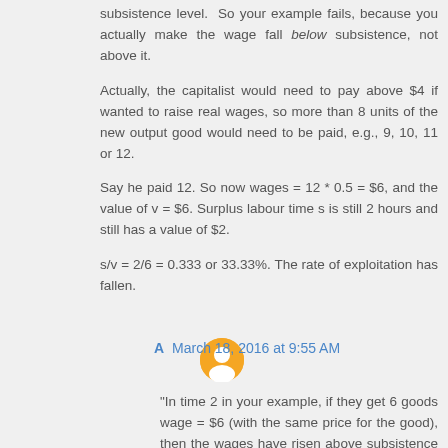subsistence level. So your example fails, because you actually make the wage fall below subsistence, not above it.
Actually, the capitalist would need to pay above $4 if wanted to raise real wages, so more than 8 units of the new output good would need to be paid, e.g., 9, 10, 11 or 12.
Say he paid 12. So now wages = 12 * 0.5 = $6, and the value of v = $6. Surplus labour time s is still 2 hours and still has a value of $2.
s/v = 2/6 = 0.333 or 33.33%. The rate of exploitation has fallen.
A March 18, 2016 at 9:55 AM
"In time 2 in your example, if they get 6 goods wage = $6 (with the same price for the good), then the wages have risen above subsistence level."